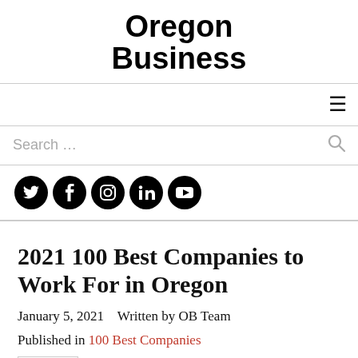Oregon Business
[Figure (other): Hamburger menu icon (three horizontal lines) in navigation bar]
Search …
[Figure (other): Social media icons: Twitter, Facebook, Instagram, LinkedIn, YouTube]
2021 100 Best Companies to Work For in Oregon
January 5, 2021    Written by OB Team
Published in 100 Best Companies
0  comments